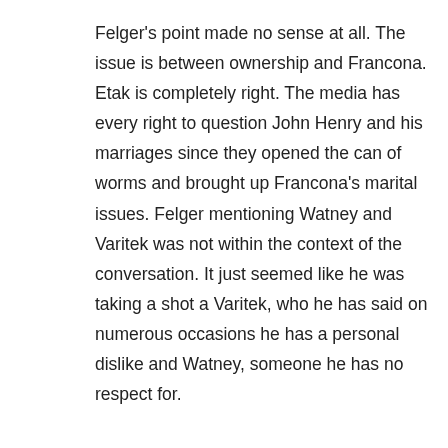Felger's point made no sense at all. The issue is between ownership and Francona. Etak is completely right. The media has every right to question John Henry and his marriages since they opened the can of worms and brought up Francona's marital issues. Felger mentioning Watney and Varitek was not within the context of the conversation. It just seemed like he was taking a shot a Varitek, who he has said on numerous occasions he has a personal dislike and Watney, someone he has no respect for.